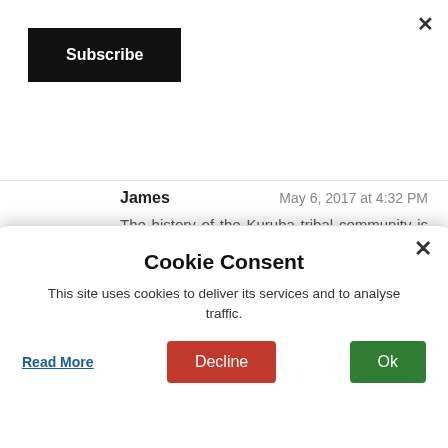[Figure (screenshot): Close X button in top right corner of page]
[Figure (screenshot): Black Subscribe button in top left area]
James	May 6, 2017 at 4:32 PM
The history of the Kuruba tribal community is interesting. Are these guys still tribes inside the park or they just work in the park now? Your elephant photograph is fantastic, I think it's everyone's dream to see a herd of elephants like this.
Cookie Consent
This site uses cookies to deliver its services and to analyse traffic.
Read More
Decline
Ok